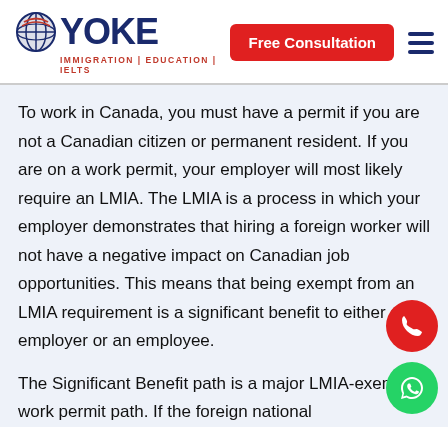[Figure (logo): Yoke Immigration Education IELTS logo with globe icon]
Free Consultation
To work in Canada, you must have a permit if you are not a Canadian citizen or permanent resident. If you are on a work permit, your employer will most likely require an LMIA. The LMIA is a process in which your employer demonstrates that hiring a foreign worker will not have a negative impact on Canadian job opportunities. This means that being exempt from an LMIA requirement is a significant benefit to either an employer or an employee.
The Significant Benefit path is a major LMIA-exempt work permit path. If the foreign national